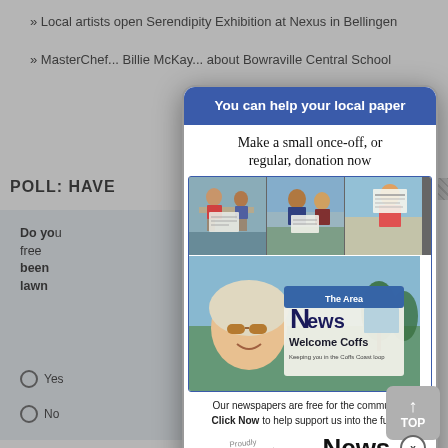»Local artists open Serendipity Exhibition at Nexus in Bellingen
»MasterChef... Billie McKay... about Bowraville Central School
POLL: HAVE
Do you... free... been... lawn
Yes
No
[Figure (screenshot): Advertisement modal popup for 'News Of The Area' local newspaper donation drive. Blue header reads 'You can help your local paper'. Body text: 'Make a small once-off, or regular, donation now'. Three photos of people reading the newspaper at a beach/coastal location. Bottom photo shows a smiling woman with sunglasses holding the newspaper with 'Welcome Coffs' headline. Caption: 'Our newspapers are free for the community. Click Now to help support us into the future.' Logo: 'Proudly Independent' with 'News Of The Area' masthead. Close button (x) at bottom right.]